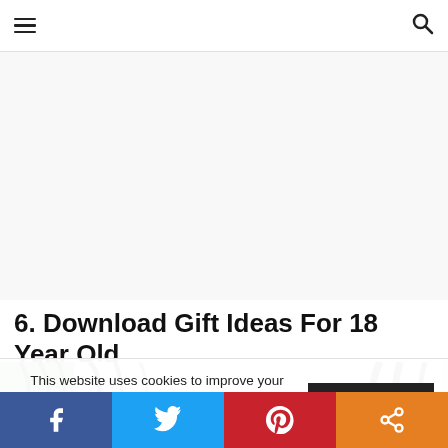Navigation bar with hamburger menu and search icon
[Figure (other): Advertisement banner area (blank/white space)]
6. Download Gift Ideas For 18 Year Old
[Figure (photo): Partial photo showing items with green, white and black colors]
This website uses cookies to improve your experience. We'll assume you're ok with this, but you can opt-out if you wish.
Accept
Social share bar with Facebook, Twitter, Pinterest, and share buttons